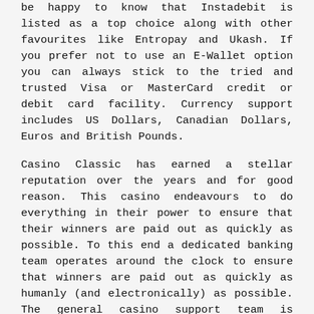be happy to know that Instadebit is listed as a top choice along with other favourites like Entropay and Ukash. If you prefer not to use an E-Wallet option you can always stick to the tried and trusted Visa or MasterCard credit or debit card facility. Currency support includes US Dollars, Canadian Dollars, Euros and British Pounds.
Casino Classic has earned a stellar reputation over the years and for good reason. This casino endeavours to do everything in their power to ensure that their winners are paid out as quickly as possible. To this end a dedicated banking team operates around the clock to ensure that winners are paid out as quickly as humanly (and electronically) as possible. The general casino support team is available 24/7 via email, instant chat and toll free call from Canada. All support staff are highly trained and multi-lingual.
RECOMMENDATION
Casino Classic is a casino with an excellent track record and impressive credentials. A long list of Canadian winners, a superb no deposit bonus, cutting edge Microgaming games and the Casino Classic casino bonus makes this a very easy